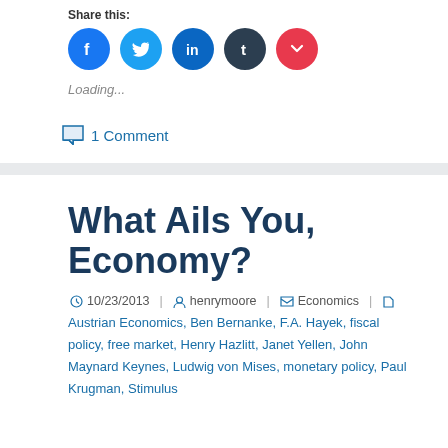Share this:
[Figure (infographic): Row of five social media share buttons: Facebook (blue circle), Twitter (light blue circle), LinkedIn (blue circle), Tumblr (dark circle), Pocket (red circle)]
Loading...
1 Comment
What Ails You, Economy?
10/23/2013  henrymoore  Economics
Austrian Economics, Ben Bernanke, F.A. Hayek, fiscal policy, free market, Henry Hazlitt, Janet Yellen, John Maynard Keynes, Ludwig von Mises, monetary policy, Paul Krugman, Stimulus